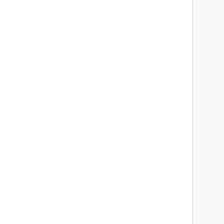Produced by J
Visit us at Bes
SUPPORT TH
Listen Anywhe
Check out the
Follow at Twitt
Like at Facebo
Contact me di
Direct download: 13
Category: general --
Tue, 1 December 2
#13 (Po